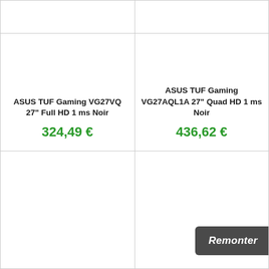[Figure (other): Top-left product cell (partial, mostly empty)]
[Figure (other): Top-right product cell (partial, mostly empty)]
ASUS TUF Gaming VG27VQ 27" Full HD 1 ms Noir
324,49 €
ASUS TUF Gaming VG27AQL1A 27" Quad HD 1 ms Noir
436,62 €
[Figure (other): Bottom-left product cell (partial)]
[Figure (other): Bottom-right product cell with Remonter button]
Remonter